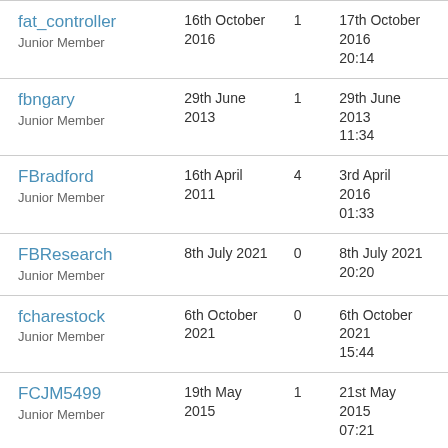| Username / Role | Join Date | Posts | Last Post |
| --- | --- | --- | --- |
| fat_controller
Junior Member | 16th October 2016 | 1 | 17th October 2016
20:14 |
| fbngary
Junior Member | 29th June 2013 | 1 | 29th June 2013
11:34 |
| FBradford
Junior Member | 16th April 2011 | 4 | 3rd April 2016
01:33 |
| FBResearch
Junior Member | 8th July 2021 | 0 | 8th July 2021
20:20 |
| fcharestock
Junior Member | 6th October 2021 | 0 | 6th October 2021
15:44 |
| FCJM5499
Junior Member | 19th May 2015 | 1 | 21st May 2015
07:21 |
| fe202 | 24th July 2012 | 4 | 2nd August 2012 |